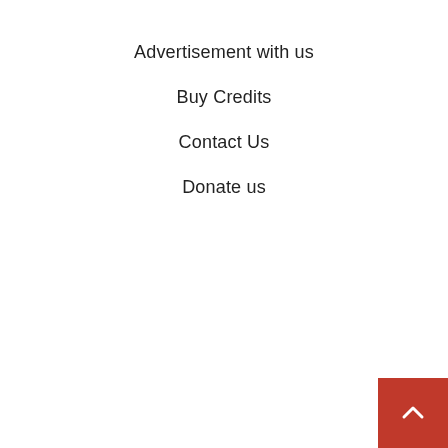Advertisement with us
Buy Credits
Contact Us
Donate us
[Figure (other): Red square back-to-top button with a white upward chevron arrow in the bottom-right corner]